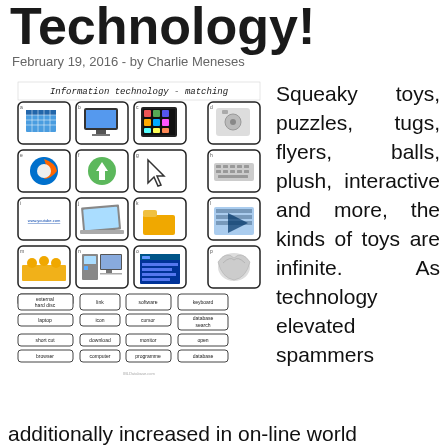Technology!
February 19, 2016  -  by Charlie Meneses
[Figure (illustration): Information technology matching worksheet with icons for browser, monitor, tablet, hard drive, Firefox, download, cursor, keyboard, YouTube link, laptop, folder, database, people/network, computer tower, software screen, crumpled paper. Below icons are word banks: external hard disc, link, software, keyboard, laptop, icon, cursor, database search, short cut, download, monitor, open, browser, computer, programme, database. Credit: IBLDatabase.com]
Squeaky toys, puzzles, tugs, flyers, balls, plush, interactive and more, the kinds of toys are infinite. As technology elevated spammers additionally increased in on-line world